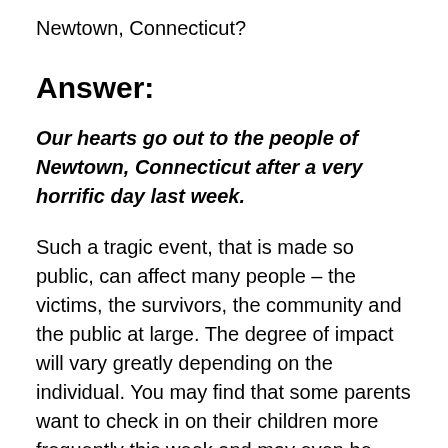Newtown, Connecticut?
Answer:
Our hearts go out to the people of Newtown, Connecticut after a very horrific day last week.
Such a tragic event, that is made so public, can affect many people – the victims, the survivors, the community and the public at large. The degree of impact will vary greatly depending on the individual. You may find that some parents want to check in on their children more frequently this week and may even be anxious about having their children at school. For employees with older children, they will be